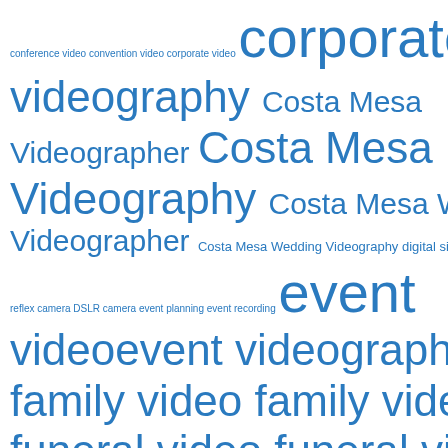[Figure (infographic): Tag cloud / word cloud with videography and related terms in various font sizes, all in blue. Terms include: conference video, convention video, corporate video, corporate, videography, Costa Mesa, Videographer, Costa Mesa, Videography, Costa Mesa Wedding, Videographer, Costa Mesa Wedding Videography, digital single lens, reflex camera, DSLR camera, event planning, event recording, event, video, event videography, explainer video, family video, family videography, first impression, funeral video, funeral videography, groom, heritage video, heritage videography, intellectual]